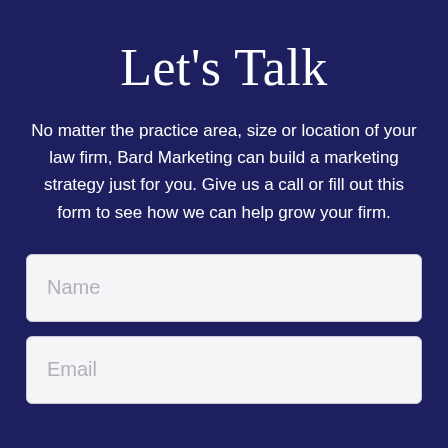Let's Talk
No matter the practice area, size or location of your law firm, Bard Marketing can build a marketing strategy just for you. Give us a call or fill out this form to see how we can help grow your firm.
Name
Email